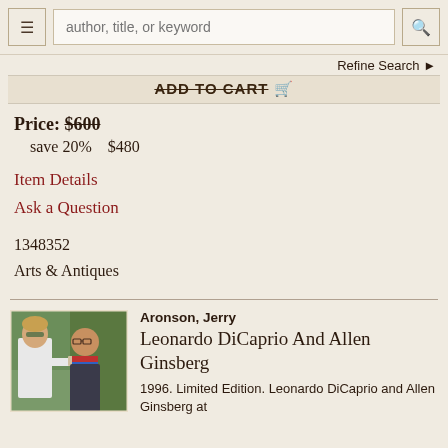author, title, or keyword | Refine Search
ADD TO CART
Price: $600 save 20%  $480
Item Details
Ask a Question
1348352
Arts & Antiques
[Figure (photo): Photograph of two men, one younger in a white shirt, one older, looking at something together outdoors]
Aronson, Jerry
Leonardo DiCaprio And Allen Ginsberg
1996. Limited Edition. Leonardo DiCaprio and Allen Ginsberg at